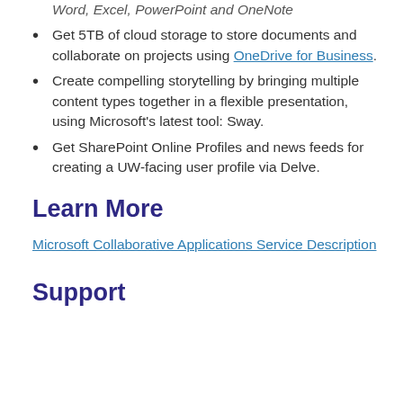Get 5TB of cloud storage to store documents and collaborate on projects using OneDrive for Business.
Create compelling storytelling by bringing multiple content types together in a flexible presentation, using Microsoft's latest tool: Sway.
Get SharePoint Online Profiles and news feeds for creating a UW-facing user profile via Delve.
Learn More
Microsoft Collaborative Applications Service Description
Support